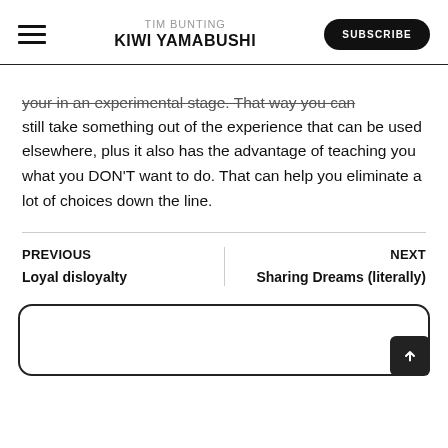TIM BUNTING KIWI YAMABUSHI
your in an experimental stage. That way you can still take something out of the experience that can be used elsewhere, plus it also has the advantage of teaching you what you DON'T want to do. That can help you eliminate a lot of choices down the line.
PREVIOUS
Loyal disloyalty
NEXT
Sharing Dreams (literally)